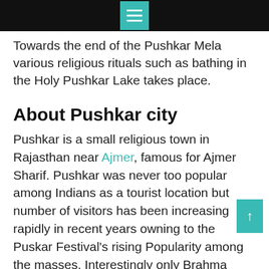☰
Towards the end of the Pushkar Mela various religious rituals such as bathing in the Holy Pushkar Lake takes place.
About Pushkar city
Pushkar is a small religious town in Rajasthan near Ajmer, famous for Ajmer Sharif. Pushkar was never too popular among Indians as a tourist location but number of visitors has been increasing rapidly in recent years owning to the Puskar Festival's rising Popularity among the masses. Interestingly only Brahma temple in the world is in Pushkar. Pushkar